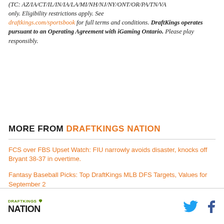(TC: AZ/IA/CT/IL/IN/IA/LA/MI/NH/NJ/NY/ONT/OR/PA/TN/VA only. Eligibility restrictions apply. See draftkings.com/sportsbook for full terms and conditions. DraftKings operates pursuant to an Operating Agreement with iGaming Ontario. Please play responsibly.
MORE FROM DRAFTKINGS NATION
FCS over FBS Upset Watch: FIU narrowly avoids disaster, knocks off Bryant 38-37 in overtime.
Fantasy Baseball Picks: Top DraftKings MLB DFS Targets, Values for September 2
DRAFTKINGS NATION